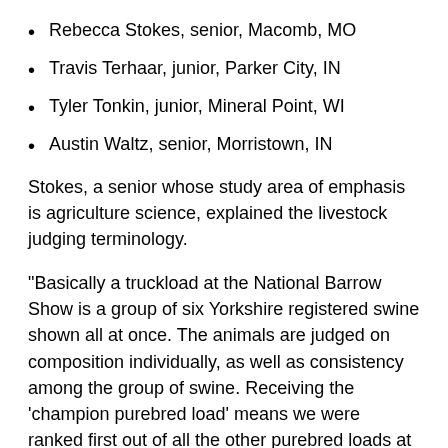Rebecca Stokes, senior, Macomb, MO
Travis Terhaar, junior, Parker City, IN
Tyler Tonkin, junior, Mineral Point, WI
Austin Waltz, senior, Morristown, IN
Stokes, a senior whose study area of emphasis is agriculture science, explained the livestock judging terminology.
"Basically a truckload at the National Barrow Show is a group of six Yorkshire registered swine shown all at once. The animals are judged on composition individually, as well as consistency among the group of swine. Receiving the 'champion purebred load' means we were ranked first out of all the other purebred loads at the show (purebred means registered livestock, crossbred means unregistered livestock)," she said. "Also, when it is said the crossbred truckload was second to the